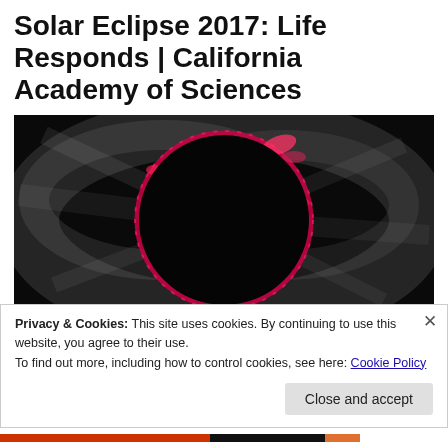Solar Eclipse 2017: Life Responds | California Academy of Sciences
[Figure (photo): Total solar eclipse photograph showing a black circular moon blocking the sun, with a pink/red chromosphere ring visible around the edge and wispy gray corona extending outward against a black background.]
Privacy & Cookies: This site uses cookies. By continuing to use this website, you agree to their use.
To find out more, including how to control cookies, see here: Cookie Policy
Close and accept